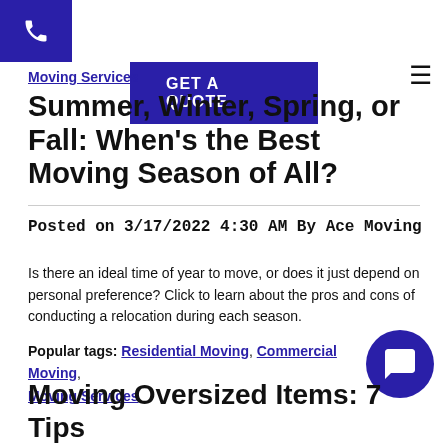GET A QUOTE
Moving Services
Summer, Winter, Spring, or Fall: When's the Best Moving Season of All?
Posted on 3/17/2022 4:30 AM By Ace Moving
Is there an ideal time of year to move, or does it just depend on personal preference? Click to learn about the pros and cons of conducting a relocation during each season.
Popular tags: Residential Moving, Commercial Moving, Moving Services
Moving Oversized Items: 7 Tips